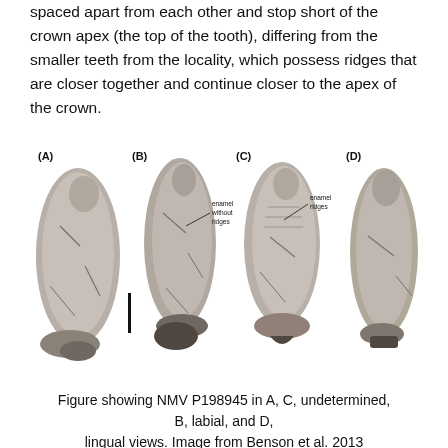spaced apart from each other and stop short of the crown apex (the top of the tooth), differing from the smaller teeth from the locality, which possess ridges that are closer together and continue closer to the apex of the crown.
[Figure (photo): Black and white photograph showing four fossilized teeth labeled (A), (B), (C), and (D). Tooth B has a label 'enamel without ridges' with a line pointing to a region. Tooth C has a label 'enamel ridges' with a line pointing to ridges. A scale bar is visible between teeth A and B.]
Figure showing NMV P198945 in A, C, undetermined, B, labial, and D, lingual views. Image from Benson et al. 2013